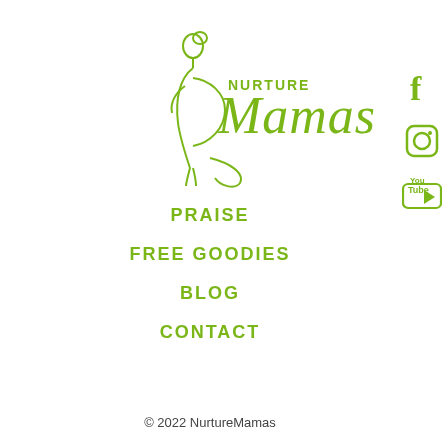[Figure (logo): Nurture Mamas logo — green line drawing of a pregnant woman silhouette with 'NURTURE Mamas' text in green]
[Figure (other): Facebook icon in green on right side]
[Figure (other): Instagram icon in green on right side]
[Figure (other): YouTube icon in green on right side]
PRAISE
FREE GOODIES
BLOG
CONTACT
© 2022 NurtureMamas